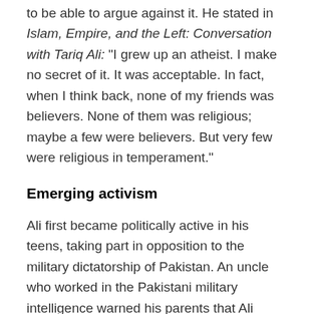to be able to argue against it. He stated in Islam, Empire, and the Left: Conversation with Tariq Ali: "I grew up an atheist. I make no secret of it. It was acceptable. In fact, when I think back, none of my friends was believers. None of them was religious; maybe a few were believers. But very few were religious in temperament."
Emerging activism
Ali first became politically active in his teens, taking part in opposition to the military dictatorship of Pakistan. An uncle who worked in the Pakistani military intelligence warned his parents that Ali could not be protected. His parents, therefore, decided to get him out of Pakistan and sent him to England to study at Exeter College, Oxford, where he studied Philosophy, Politics, and Economics. He was elected President of the Oxford Union in